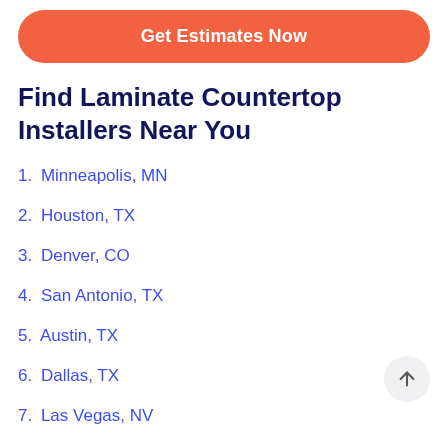[Figure (other): Orange rounded button with white bold text 'Get Estimates Now']
Find Laminate Countertop Installers Near You
1. Minneapolis, MN
2. Houston, TX
3. Denver, CO
4. San Antonio, TX
5. Austin, TX
6. Dallas, TX
7. Las Vegas, NV